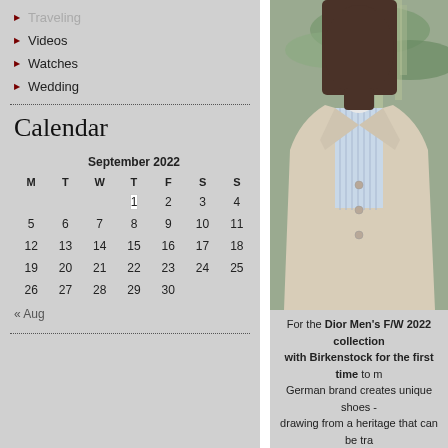Traveling
Videos
Watches
Wedding
Calendar
| M | T | W | T | F | S | S |
| --- | --- | --- | --- | --- | --- | --- |
|  |  |  | 1 | 2 | 3 | 4 |
| 5 | 6 | 7 | 8 | 9 | 10 | 11 |
| 12 | 13 | 14 | 15 | 16 | 17 | 18 |
| 19 | 20 | 21 | 22 | 23 | 24 | 25 |
| 26 | 27 | 28 | 29 | 30 |  |  |
« Aug
[Figure (photo): A man wearing a beige jacket over a light blue striped shirt, with tropical green leaves in the background. Dior Men's F/W 2022 collection editorial photo.]
For the Dior Men's F/W 2022 collection with Birkenstock for the first time to m German brand creates unique shoes - drawing from a heritage that can be tra Johann Adam Birkenstock set out on craftsmanship they